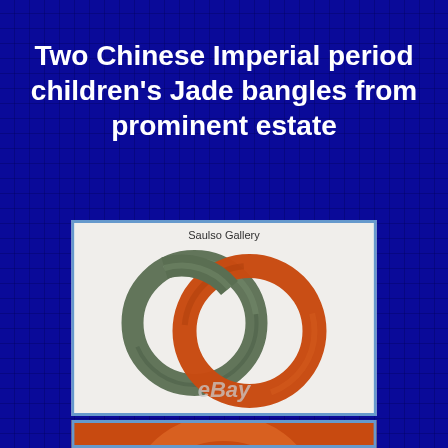Two Chinese Imperial period children's Jade bangles from prominent estate
[Figure (photo): Two jade bangles interlinked — one green/grey nephrite and one red/orange carnelian — photographed on a white background. Watermark 'Saulso Gallery' at top center and 'eBay' at bottom center.]
[Figure (photo): Partial view of a second photo showing the orange/red jade bangle, cropped at bottom of page.]